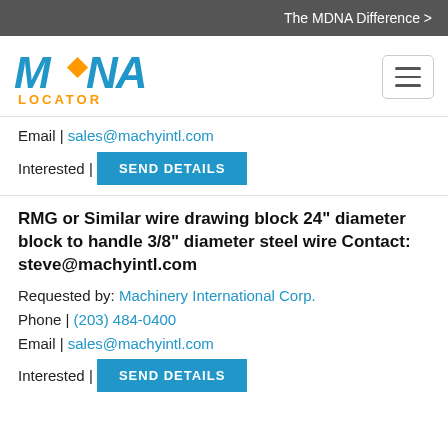The MDNA Difference >
[Figure (logo): MDNA Locator logo — stylized blue MDNA text with orange diamond accent and orange LOCATOR text below]
Email | sales@machyintl.com
Interested | SEND DETAILS
RMG or Similar wire drawing block 24" diameter block to handle 3/8" diameter steel wire Contact: steve@machyintl.com
Requested by: Machinery International Corp.
Phone | (203) 484-0400
Email | sales@machyintl.com
Interested | SEND DETAILS